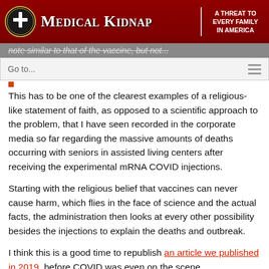MEDICAL KIDNAP | A THREAT TO EVERY FAMILY IN AMERICA
note similar to that of the vaccine, but not...
Go to...
This has to be one of the clearest examples of a religious-like statement of faith, as opposed to a scientific approach to the problem, that I have seen recorded in the corporate media so far regarding the massive amounts of deaths occurring with seniors in assisted living centers after receiving the experimental mRNA COVID injections.
Starting with the religious belief that vaccines can never cause harm, which flies in the face of science and the actual facts, the administration then looks at every other possibility besides the injections to explain the deaths and outbreak.
I think this is a good time to republish an article we published in 2019, before COVID was even on the scene, by Bira Francis